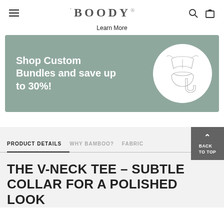BOODY
Learn More
[Figure (infographic): Promotional banner with muted green background showing 'Shop Custom Bundles and save up to 30%!' text on left and a white circle with line-drawing illustration of lingerie/underwear set on right]
PRODUCT DETAILS   WHY BAMBOO?   FABRIC
THE V-NECK TEE – SUBTLE COLLAR FOR A POLISHED LOOK